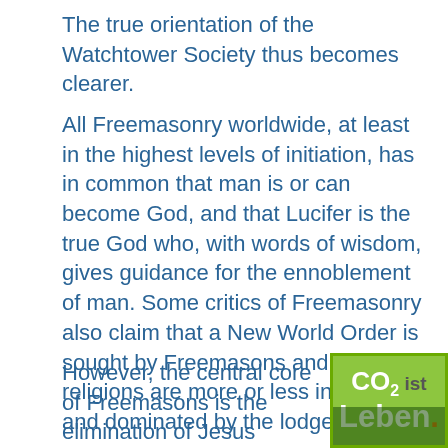The true orientation of the Watchtower Society thus becomes clearer.
All Freemasonry worldwide, at least in the highest levels of initiation, has in common that man is or can become God, and that Lucifer is the true God who, with words of wisdom, gives guidance for the ennoblement of man. Some critics of Freemasonry also claim that a New World Order is sought by Freemasons and that all religions are more or less infiltrated and dominated by the lodges.
However, the central core of Freemasons is the elimination of Jesus Christ as God and Creator, as Redeemer and Saviour, as the future of humanity. If one considers this core, it turns out conclusively that this goal is also an im... of all religions. This suggests that at le... spiritual kinship connects Freemasonry... religions. From the Catholic Church to th...
[Figure (logo): Green advertisement badge with 'CO2 ist Leben.' text overlay]